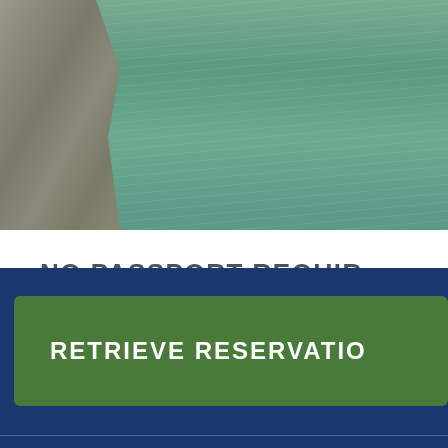[Figure (photo): Aerial or close-up view of rocky shoreline with green-teal water, rocks visible on the left side and water ripples on the right]
NO PASSPORT REQUIR
RETRIEVE RESERVATIO